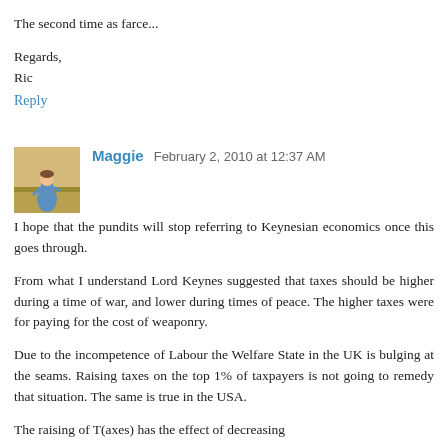The second time as farce...
Regards,
Ric
Reply
Maggie  February 2, 2010 at 12:37 AM
I hope that the pundits will stop referring to Keynesian economics once this goes through.
From what I understand Lord Keynes suggested that taxes should be higher during a time of war, and lower during times of peace. The higher taxes were for paying for the cost of weaponry.
Due to the incompetence of Labour the Welfare State in the UK is bulging at the seams. Raising taxes on the top 1% of taxpayers is not going to remedy that situation. The same is true in the USA.
The raising of T(axes) has the effect of decreasing